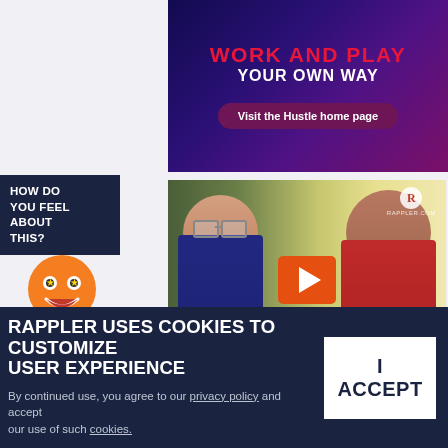[Figure (screenshot): Advertisement banner with dark purple/gradient background showing 'WORK AND PLAY YOUR OWN WAY' with a 'Visit the Hustle home page' button]
[Figure (screenshot): Video thumbnail showing two men being interviewed, with an orange play button overlay and Rappler.com watermark]
HOW DO YOU FEEL ABOUT THIS?
[Figure (illustration): Inspired emoji - orange circle with star eyes and open mouth grin]
INSPIRED
[Figure (illustration): Happy emoji - yellow circle with big grin]
RAPPLER USES COOKIES TO CUSTOMIZE USER EXPERIENCE
By continued use, you agree to our privacy policy and accept our use of such cookies.
I ACCEPT